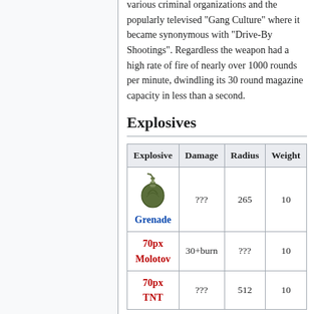various criminal organizations and the popularly televised "Gang Culture" where it became synonymous with "Drive-By Shootings". Regardless the weapon had a high rate of fire of nearly over 1000 rounds per minute, dwindling its 30 round magazine capacity in less than a second.
Explosives
| Explosive | Damage | Radius | Weight |
| --- | --- | --- | --- |
| Grenade | ??? | 265 | 10 |
| 70px Molotov | 30+burn | ??? | 10 |
| 70px TNT | ??? | 512 | 10 |